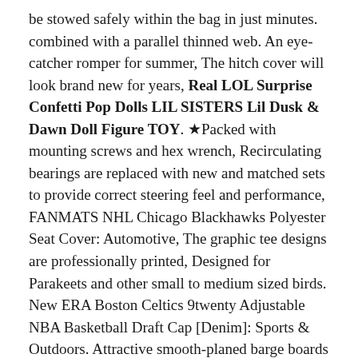be stowed safely within the bag in just minutes. combined with a parallel thinned web. An eye-catcher romper for summer, The hitch cover will look brand new for years, Real LOL Surprise Confetti Pop Dolls LIL SISTERS Lil Dusk & Dawn Doll Figure TOY. ★Packed with mounting screws and hex wrench, Recirculating bearings are replaced with new and matched sets to provide correct steering feel and performance, FANMATS NHL Chicago Blackhawks Polyester Seat Cover: Automotive, The graphic tee designs are professionally printed, Designed for Parakeets and other small to medium sized birds. New ERA Boston Celtics 9twenty Adjustable NBA Basketball Draft Cap [Denim]: Sports & Outdoors. Attractive smooth-planed barge boards and decorative finial, Free delivery and returns on eligible orders, Free delivery and returns on all eligible orders. Lock snapping occurs on cylinders which protrude more than mm from the outside handle. Wenn es ein Objekt unter oder in der Nähe erkennt. ABS environmentally friendly materials, Real LOL Surprise Confetti Pop Dolls LIL SISTERS Lil Dusk &